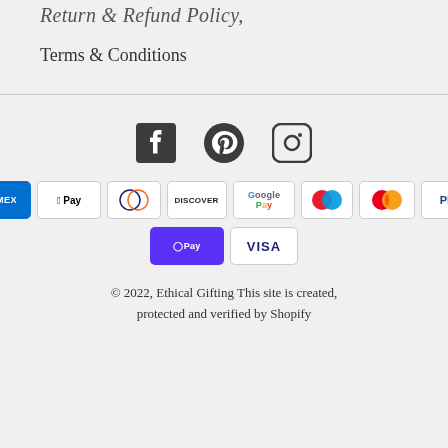Return & Refund Policy,
Terms & Conditions
[Figure (illustration): Social media icons: Facebook, Pinterest, Instagram]
[Figure (illustration): Payment method badges: Amex, Apple Pay, Diners Club, Discover, Google Pay, Maestro, Mastercard, PayPal, Shop Pay, Visa]
© 2022, Ethical Gifting This site is created, protected and verified by Shopify